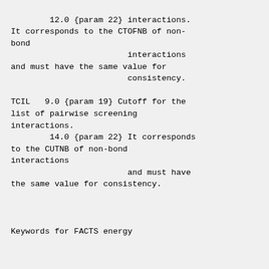12.0 {param 22} interactions.
It corresponds to the CTOFNB of non-
bond
                        interactions
and must have the same value for
                        consistency.

TCIL   9.0 {param 19} Cutoff for the
list of pairwise screening
interactions.
        14.0 {param 22} It corresponds
to the CUTNB of non-bond
interactions
                        and must have
the same value for consistency.


Keywords for FACTS energy